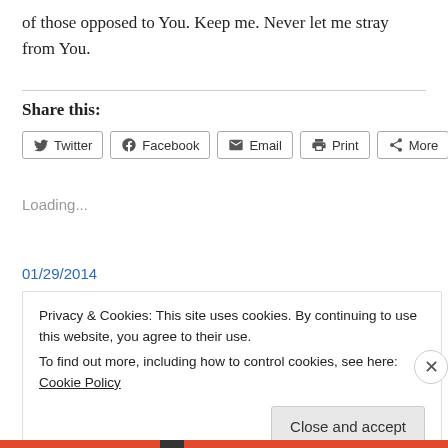of those opposed to You. Keep me. Never let me stray from You.
Share this:
Twitter Facebook Email Print More
Loading...
01/29/2014
Privacy & Cookies: This site uses cookies. By continuing to use this website, you agree to their use.
To find out more, including how to control cookies, see here: Cookie Policy
Close and accept